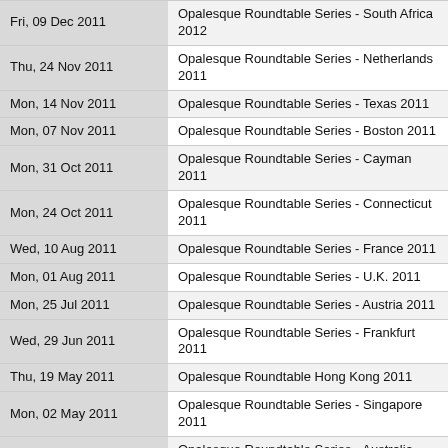| Date | Title |
| --- | --- |
| Fri, 09 Dec 2011 | Opalesque Roundtable Series - South Africa 2012 |
| Thu, 24 Nov 2011 | Opalesque Roundtable Series - Netherlands 2011 |
| Mon, 14 Nov 2011 | Opalesque Roundtable Series - Texas 2011 |
| Mon, 07 Nov 2011 | Opalesque Roundtable Series - Boston 2011 |
| Mon, 31 Oct 2011 | Opalesque Roundtable Series - Cayman 2011 |
| Mon, 24 Oct 2011 | Opalesque Roundtable Series - Connecticut 2011 |
| Wed, 10 Aug 2011 | Opalesque Roundtable Series - France 2011 |
| Mon, 01 Aug 2011 | Opalesque Roundtable Series - U.K. 2011 |
| Mon, 25 Jul 2011 | Opalesque Roundtable Series - Austria 2011 |
| Wed, 29 Jun 2011 | Opalesque Roundtable Series - Frankfurt 2011 |
| Thu, 19 May 2011 | Opalesque Roundtable Hong Kong 2011 |
| Mon, 02 May 2011 | Opalesque Roundtable Series - Singapore 2011 |
| Tue, 26 Apr 2011 | Opalesque Roundtable Series - Australia 2011 |
| Sun, 10 Apr 2011 | Opalesque Roundtable Series - New Zealand 2011 |
| Sun, 03 Apr 2011 | Opalesque Roundtable Series - West Coast 2011 |
| Fri, 25 Mar 2011 | Opalesque Roundtable Series - Colorado 2011 |
| Thu, 20 Jan 2011 | Opalesque Roundtable Series - Geneva 2010 |